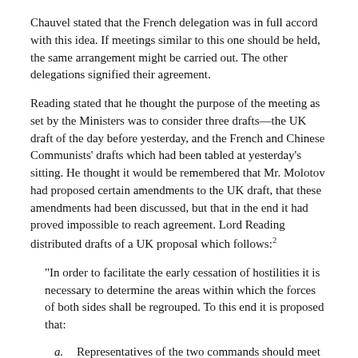Chauvel stated that the French delegation was in full accord with this idea. If meetings similar to this one should be held, the same arrangement might be carried out. The other delegations signified their agreement.
Reading stated that he thought the purpose of the meeting as set by the Ministers was to consider three drafts—the UK draft of the day before yesterday, and the French and Chinese Communists' drafts which had been tabled at yesterday's sitting. He thought it would be remembered that Mr. Molotov had proposed certain amendments to the UK draft, that these amendments had been discussed, but that in the end it had proved impossible to reach agreement. Lord Reading distributed drafts of a UK proposal which follows:2
“In order to facilitate the early cessation of hostilities it is necessary to determine the areas within which the forces of both sides shall be regrouped. To this end it is proposed that:
Representatives of the two commands should meet immediately in Geneva.
Their first task should be to work out regrouping areas for